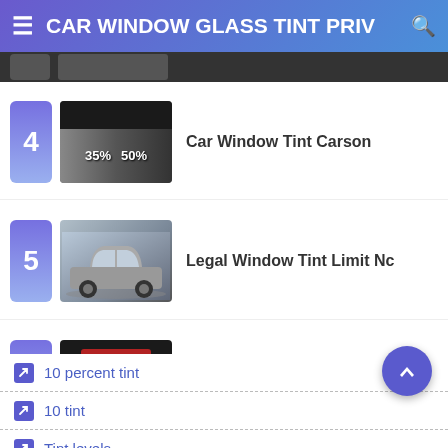CAR WINDOW GLASS TINT PRIV
4 - Car Window Tint Carson
5 - Legal Window Tint Limit Nc
6 - Car Window Tint Temperature
10 percent tint
10 tint
Tint levels
3m vs Llumar